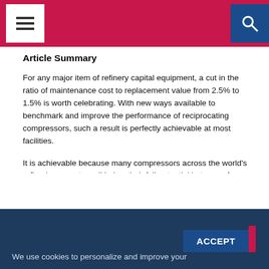Navigation bar with menu and search buttons
Article Summary
For any major item of refinery capital equipment, a cut in the ratio of maintenance cost to replacement value from 2.5% to 1.5% is worth celebrating. With new ways available to benchmark and improve the performance of reciprocating compressors, such a result is perfectly achievable at most facilities.
It is achievable because many compressors across the world's refineries operate well below their full potential in terms of reliability, efficiency, and environmental performance.
At first glance, this seems counter-intuitive. A dependable supply of hydrogen is essential to the hydrotreating and hydrocracking units on which refineries depend to remove sulphur and boost yields of valuable light products. Reciprocating compressors, in turn, are key to hydrogen supply. So it should be clear that efficient and reliable operation of recips is essential to the bottom-line security of any refinery.
We use cookies to personalize and improve your